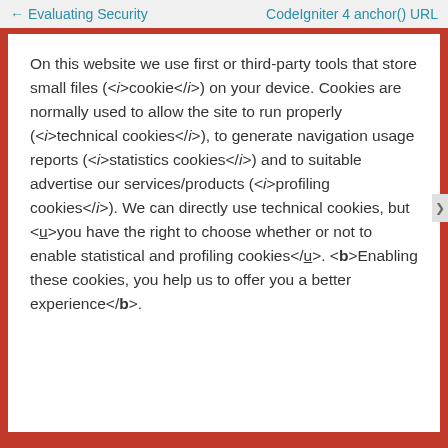← Evaluating Security    CodeIgniter 4 anchor() URL
On this website we use first or third-party tools that store small files (<i>cookie</i>) on your device. Cookies are normally used to allow the site to run properly (<i>technical cookies</i>), to generate navigation usage reports (<i>statistics cookies</i>) and to suitable advertise our services/products (<i>profiling cookies</i>). We can directly use technical cookies, but <u>you have the right to choose whether or not to enable statistical and profiling cookies</u>. <b>Enabling these cookies, you help us to offer you a better experience</b>.